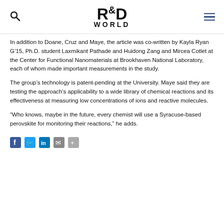R&D WORLD
In addition to Doane, Cruz and Maye, the article was co-written by Kayla Ryan G’15, Ph.D. student Laxmikant Pathade and Huidong Zang and Mircea Cotlet at the Center for Functional Nanomaterials at Brookhaven National Laboratory, each of whom made important measurements in the study.
The group’s technology is patent-pending at the University. Maye said they are testing the approach’s applicability to a wide library of chemical reactions and its effectiveness at measuring low concentrations of ions and reactive molecules.
“Who knows, maybe in the future, every chemist will use a Syracuse-based perovskite for monitoring their reactions,” he adds.